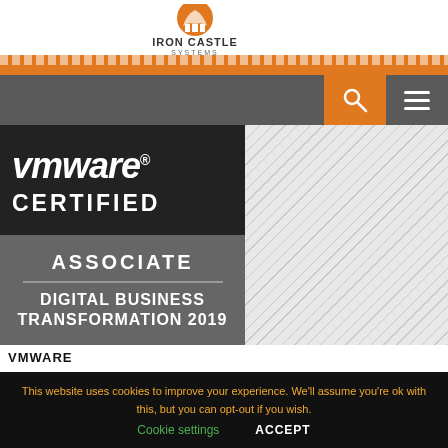Iron Castle Systems
[Figure (logo): Iron Castle Systems logo with orange flame/castle icon and company name]
[Figure (illustration): VMware Certified Associate - Digital Business Transformation 2019 badge. Top half dark background with VMware logo and CERTIFIED text. Bottom half gray background with ASSOCIATE and DIGITAL BUSINESS TRANSFORMATION 2019 text.]
VMWARE
This website uses cookies to improve your experience. We'll assume you're ok with this, but you can opt-out if you wish.
Cookie settings   ACCEPT